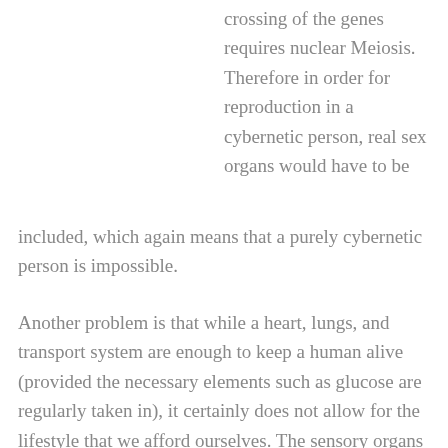crossing of the genes requires nuclear Meiosis. Therefore in order for reproduction in a cybernetic person, real sex organs would have to be included, which again means that a purely cybernetic person is impossible.
Another problem is that while a heart, lungs, and transport system are enough to keep a human alive (provided the necessary elements such as glucose are regularly taken in), it certainly does not allow for the lifestyle that we afford ourselves. The sensory organs would have to be for the human to be able to interact, and while hearing and sight would be relatively simple, touch, taste and smell would be rather harder to create, but just as important. Speech would be straightforward, and it has already been tested (Stephen